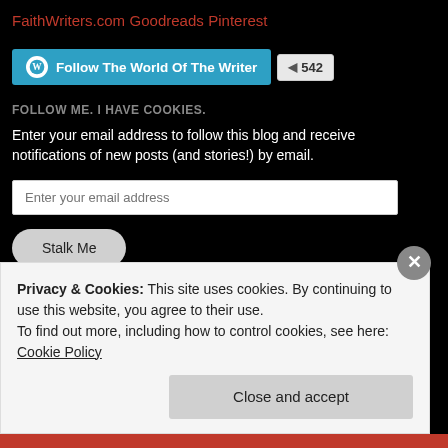FaithWriters.com
Goodreads
Pinterest
Follow The World Of The Writer  542
FOLLOW ME. I HAVE COOKIES.
Enter your email address to follow this blog and receive notifications of new posts (and stories!) by email.
Enter your email address
Stalk Me
Join 572 other followers
Privacy & Cookies: This site uses cookies. By continuing to use this website, you agree to their use.
To find out more, including how to control cookies, see here: Cookie Policy
Close and accept